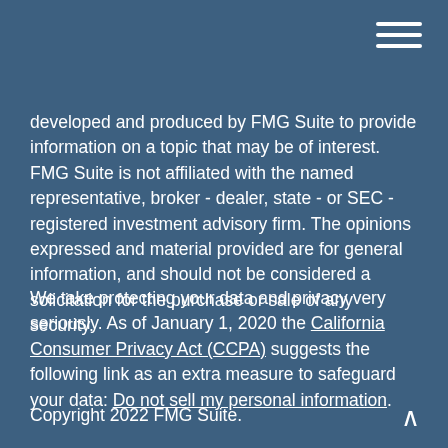[Figure (other): Hamburger menu icon (three horizontal white lines) in top-right corner]
developed and produced by FMG Suite to provide information on a topic that may be of interest. FMG Suite is not affiliated with the named representative, broker - dealer, state - or SEC - registered investment advisory firm. The opinions expressed and material provided are for general information, and should not be considered a solicitation for the purchase or sale of any security.
We take protecting your data and privacy very seriously. As of January 1, 2020 the California Consumer Privacy Act (CCPA) suggests the following link as an extra measure to safeguard your data: Do not sell my personal information.
Copyright 2022 FMG Suite.